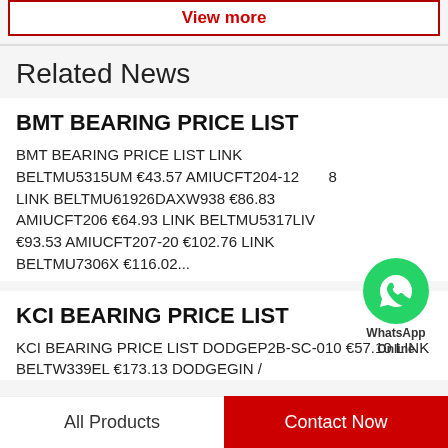View more
Related News
BMT BEARING PRICE LIST
BMT BEARING PRICE LIST LINK BELTMU5315UM €43.57 AMIUCFT204-12 €68 LINK BELTMU61926DAXW938 €86.83 AMIUCFT206 €64.93 LINK BELTMU5317LIV €93.53 AMIUCFT207-20 €102.76 LINK BELTMU7306X €116.02...
[Figure (other): WhatsApp Online contact bubble with green phone icon]
KCI BEARING PRICE LIST
KCI BEARING PRICE LIST DODGEP2B-SC-010 €57.10 LINK BELTW339EL €173.13 DODGEGIN ...
All Products   Contact Now